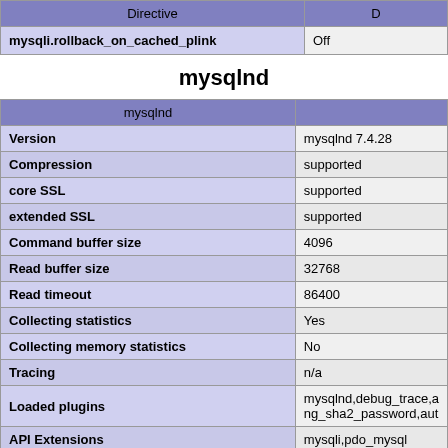| Directive | D |
| --- | --- |
| mysqli.rollback_on_cached_plink | Off |
mysqlnd
| mysqlnd |  |
| --- | --- |
| Version | mysqlnd 7.4.28 |
| Compression | supported |
| core SSL | supported |
| extended SSL | supported |
| Command buffer size | 4096 |
| Read buffer size | 32768 |
| Read timeout | 86400 |
| Collecting statistics | Yes |
| Collecting memory statistics | No |
| Tracing | n/a |
| Loaded plugins | mysqlnd,debug_trace,a ng_sha2_password,aut |
| API Extensions | mysqli,pdo_mysql |
odbc